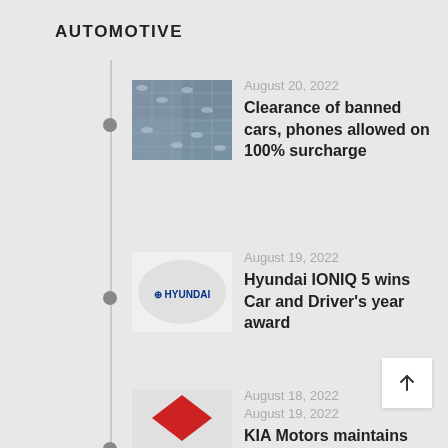AUTOMOTIVE
August 20, 2022
Clearance of banned cars, phones allowed on 100% surcharge
[Figure (photo): Grid of car roofs/vehicles seen from above]
August 19, 2022
Hyundai IONIQ 5 wins Car and Driver's year award
[Figure (logo): Hyundai logo on white oval background]
August 19, 2022
KIA Motors maintains prices in Pakistan
[Figure (logo): KIA Motors logo with tagline 'movement that inspires']
August 18, 2022
[Figure (logo): Red diamond/chevron logo partially visible]